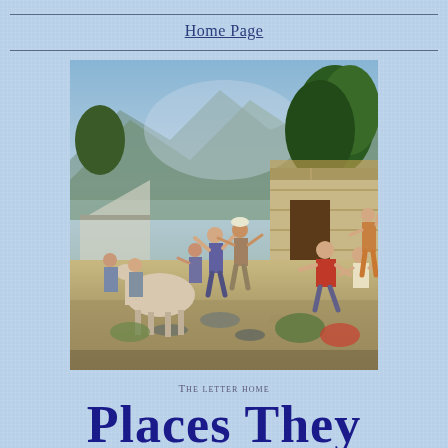Home Page
[Figure (illustration): A 19th century painting depicting a lively scene at a mining camp or frontier settlement. Groups of men are engaged in activities including a brawl/dance in the foreground, with onlookers relaxing against a wooden cabin on the right. Trees and mountains are visible in the background.]
The letter home
Places They Settled